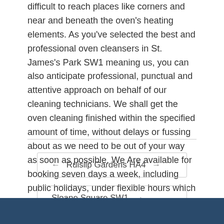difficult to reach places like corners and near and beneath the oven's heating elements. As you've selected the best and professional oven cleansers in St. James's Park SW1 meaning us, you can also anticipate professional, punctual and attentive approach on behalf of our cleaning technicians. We shall get the oven cleaning finished within the specified amount of time, without delays or fussing about as we need to be out of your way as soon as possible. We Are available for booking seven days a week, including public holidays, under flexible hours which work around your schedule.
← Ruislip Gardens HA4 →
Sloane Square SW1 →